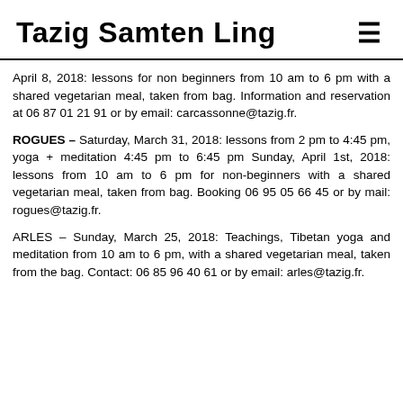Tazig Samten Ling
April 8, 2018: lessons for non beginners from 10 am to 6 pm with a shared vegetarian meal, taken from bag. Information and reservation at 06 87 01 21 91 or by email: carcassonne@tazig.fr.
ROGUES – Saturday, March 31, 2018: lessons from 2 pm to 4:45 pm, yoga + meditation 4:45 pm to 6:45 pm Sunday, April 1st, 2018: lessons from 10 am to 6 pm for non-beginners with a shared vegetarian meal, taken from bag. Booking 06 95 05 66 45 or by mail: rogues@tazig.fr.
ARLES – Sunday, March 25, 2018: Teachings, Tibetan yoga and meditation from 10 am to 6 pm, with a shared vegetarian meal, taken from the bag. Contact: 06 85 96 40 61 or by email: arles@tazig.fr.